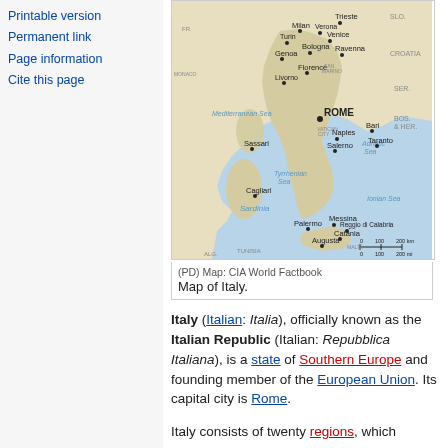Printable version
Permanent link
Page information
Cite this page
[Figure (map): Map of Italy showing major cities including Rome, Milan, Venice, Florence, Naples, Palermo, and surrounding seas and countries. CIA World Factbook map.]
(PD) Map: CIA World Factbook
Map of Italy.
Italy (Italian: Italia), officially known as the Italian Republic (Italian: Repubblica Italiana), is a state of Southern Europe and founding member of the European Union. Its capital city is Rome.
Italy consists of twenty regions, which